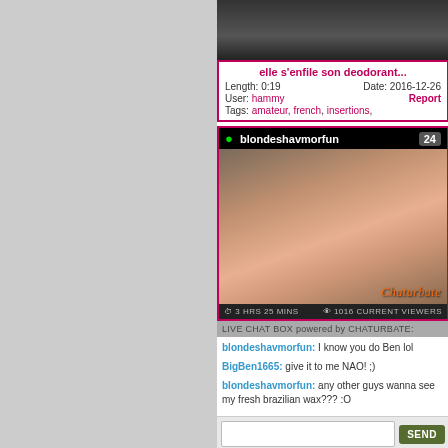[Figure (screenshot): Top portion of a video thumbnail (dark/blurred image)]
elle s'enfile son deodorant...
Length: 0:19   Date: 2016-12-26
User: hammy   Report
Tags: amateur, french, insertions,
[Figure (screenshot): Chaturbate live stream screenshot showing blondeshavmorfun with 24 viewers, 3 HRS 25 MINS, 1016 CURRENT VIEWERS]
LIVE CHAT BOX powered by CHATURBATE:
blondeshavmorfun: I know you do Ben lol
BigBen1665: give it to me NAO! ;)
blondeshavmorfun: any other guys wanna see my fresh brazilian wax??? :O